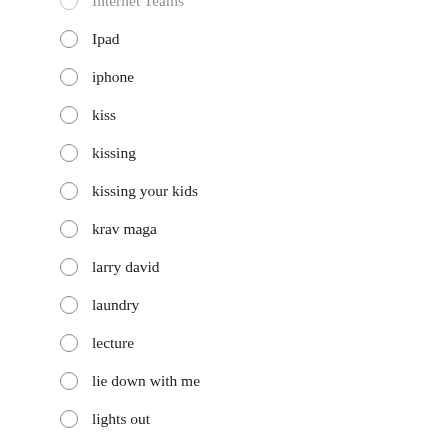Internet Teams
Ipad
iphone
kiss
kissing
kissing your kids
krav maga
larry david
laundry
lecture
lie down with me
lights out
lost
Maintenance
manners
masterbation
MCG
meal times
media